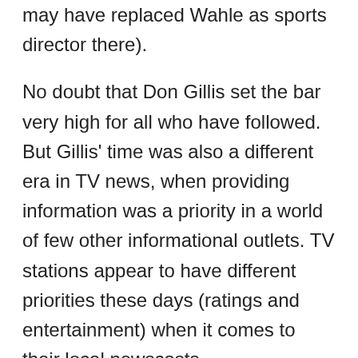working in Boston (Philip Shelpino may have replaced Wahle as sports director there).
No doubt that Don Gillis set the bar very high for all who have followed. But Gillis' time was also a different era in TV news, when providing information was a priority in a world of few other informational outlets. TV stations appear to have different priorities these days (ratings and entertainment) when it comes to their local newscasts.